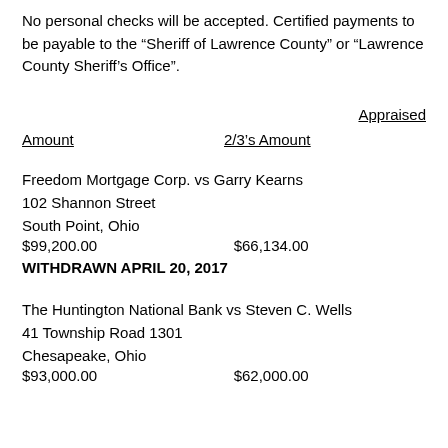No personal checks will be accepted.  Certified payments to be payable to the “Sheriff of Lawrence County” or “Lawrence County Sheriff’s Office”.
| Amount | 2/3’s Amount | Appraised |
| --- | --- | --- |
| Freedom Mortgage Corp. vs Garry Kearns |  |  |
| 102 Shannon Street |  |  |
| South Point, Ohio |  |  |
| $99,200.00 | $66,134.00 |  |
| WITHDRAWN APRIL 20, 2017 |  |  |
| The Huntington National Bank vs Steven C. Wells |  |  |
| 41 Township Road 1301 |  |  |
| Chesapeake, Ohio |  |  |
| $93,000.00 | $62,000.00 |  |